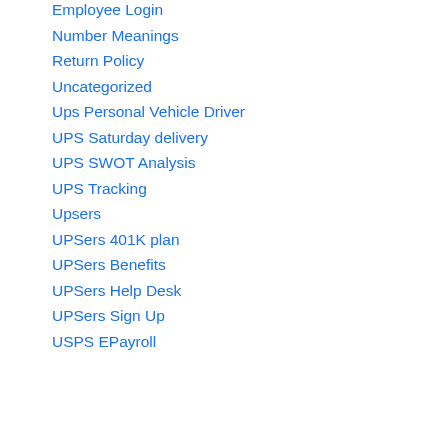Employee Login
Number Meanings
Return Policy
Uncategorized
Ups Personal Vehicle Driver
UPS Saturday delivery
UPS SWOT Analysis
UPS Tracking
Upsers
UPSers 401K plan
UPSers Benefits
UPSers Help Desk
UPSers Sign Up
USPS EPayroll